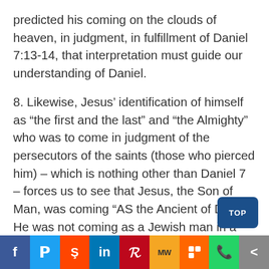predicted his coming on the clouds of heaven, in judgment, in fulfillment of Daniel 7:13-14, that interpretation must guide our understanding of Daniel.
8. Likewise, Jesus’ identification of himself as “the first and the last” and “the Almighty” who was to come in judgment of the persecutors of the saints (those who pierced him) – which is nothing other than Daniel 7 – forces us to see that Jesus, the Son of Man, was coming “AS the Ancient of Days.” He was not coming as a Jewish man in a physical body!
Thus, I believe that I have presented suff—
f | twitter | reddit | in | pinterest | MW | Mix | WhatsApp | share